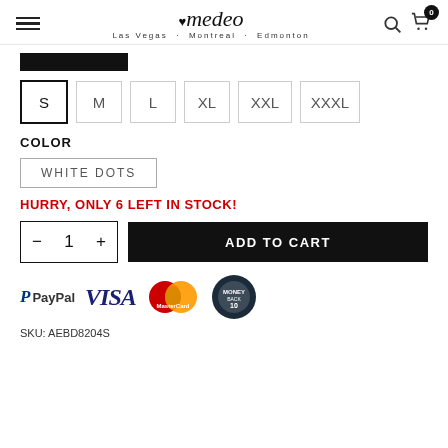Amedeo — Las Vegas · Montreal · Edmonton
[Figure (screenshot): Black color swatch bar selected]
S  M  L  XL  XXL  XXXL (size options, S selected)
COLOR
WHITE DOTS (color option selected)
HURRY, ONLY 6 LEFT IN STOCK!
— 1 +   ADD TO CART
[Figure (logo): Payment logos: PayPal, VISA, MasterCard, Money Back guarantee badge]
SKU: AEBD8204S